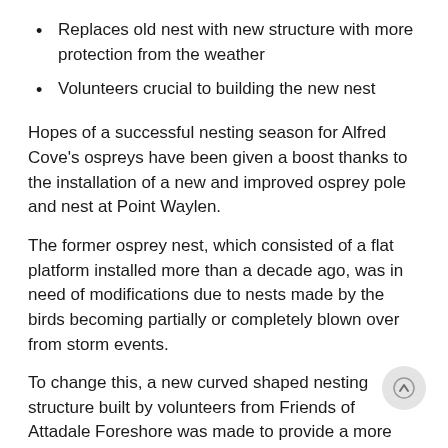Replaces old nest with new structure with more protection from the weather
Volunteers crucial to building the new nest
Hopes of a successful nesting season for Alfred Cove's ospreys have been given a boost thanks to the installation of a new and improved osprey pole and nest at Point Waylen.
The former osprey nest, which consisted of a flat platform installed more than a decade ago, was in need of modifications due to nests made by the birds becoming partially or completely blown over from storm events.
To change this, a new curved shaped nesting structure built by volunteers from Friends of Attadale Foreshore was made to provide a more suitable environment to protect the nests from windy weather conditions.